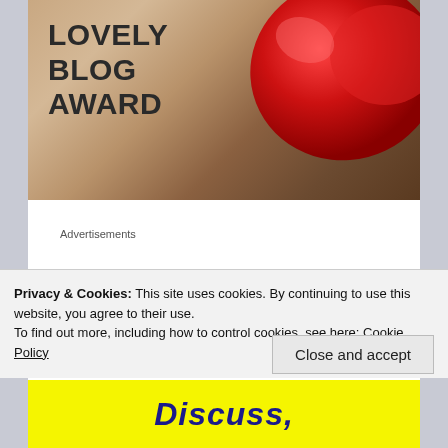[Figure (photo): One Lovely Blog Award banner image with bold text on left and red heart on right over wooden background]
Advertisements
As I was in the middle of doing this challenge I have decided to pass on the follow up of that nomination, but I wanted to thank Kylie for the shout out and don't forget to head over and check out her blog on keeping fit and healthy after 40 (and after four kids).
Privacy & Cookies: This site uses cookies. By continuing to use this website, you agree to their use.
To find out more, including how to control cookies, see here: Cookie Policy
Close and accept
[Figure (other): Yellow banner with bold italic dark blue text reading 'Discuss,']